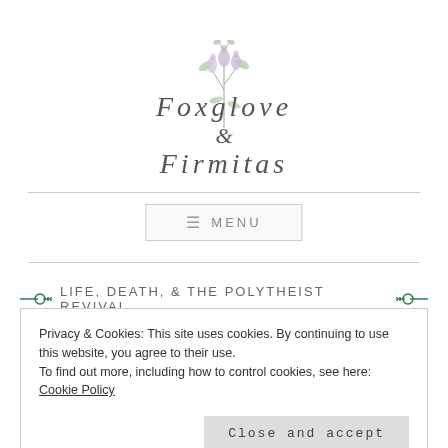[Figure (logo): Foxglove & Firmitas logo with floral botanical illustration of bell-shaped flowers and greenery, script/serif lettering]
≡ MENU
Life, Death, & the Polytheist Revival
Privacy & Cookies: This site uses cookies. By continuing to use this website, you agree to their use.
To find out more, including how to control cookies, see here: Cookie Policy
Close and accept